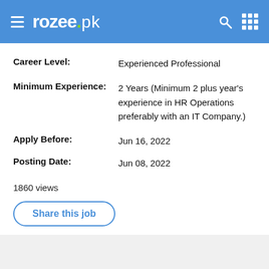rozee.pk
| Career Level: | Experienced Professional |
| Minimum Experience: | 2 Years (Minimum 2 plus year's experience in HR Operations preferably with an IT Company.) |
| Apply Before: | Jun 16, 2022 |
| Posting Date: | Jun 08, 2022 |
1860 views
Share this job